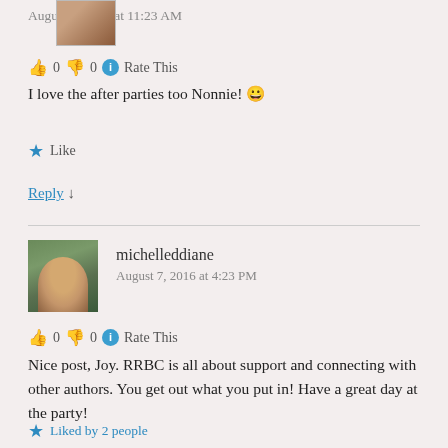August 9, 2016 at 11:23 AM
👍 0 👎 0 ℹ Rate This
I love the after parties too Nonnie! 😀
★ Like
Reply ↓
michelleddiane
August 7, 2016 at 4:23 PM
👍 0 👎 0 ℹ Rate This
Nice post, Joy. RRBC is all about support and connecting with other authors. You get out what you put in! Have a great day at the party!
★ Liked by 2 people